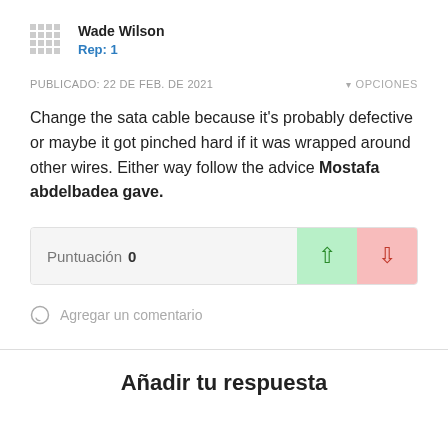Wade Wilson
Rep: 1
PUBLICADO: 22 DE FEB. DE 2021
OPCIONES
Change the sata cable because it’s probably defective or maybe it got pinched hard if it was wrapped around other wires. Either way follow the advice Mostafa abdelbadea gave.
Puntuación 0
Agregar un comentario
Añadir tu respuesta